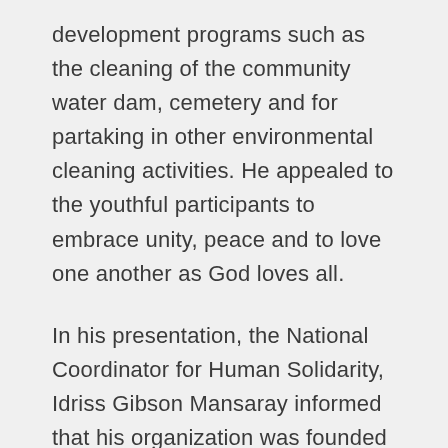development programs such as the cleaning of the community water dam, cemetery and for partaking in other environmental cleaning activities. He appealed to the youthful participants to embrace unity, peace and to love one another as God loves all.
In his presentation, the National Coordinator for Human Solidarity,  Idriss Gibson Mansaray informed that his organization was founded in 2013 at Hastings Village, but came to full time operation in 2014.